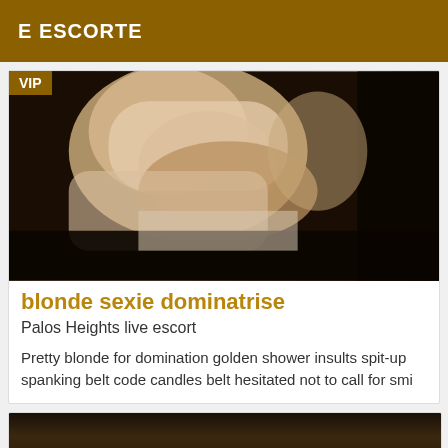E ESCORTE
[Figure (photo): Close-up photo of a woman in white lingerie, dark background, VIP badge overlay]
blonde sexie dominatrise
Palos Heights live escort
Pretty blonde for domination golden shower insults spit-up spanking belt code candles belt hesitated not to call for smi
[Figure (photo): Partial dark image at bottom of page, second listing preview]